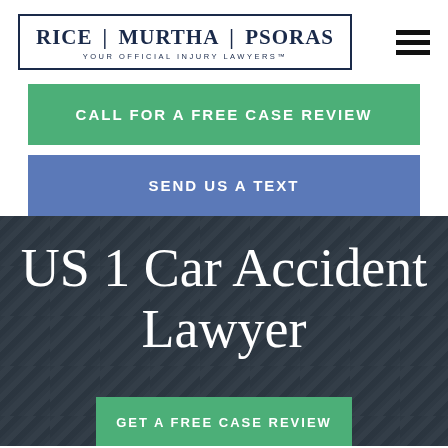[Figure (logo): Rice | Murtha | Psoras law firm logo with tagline 'YOUR OFFICIAL INJURY LAWYERS™']
CALL FOR A FREE CASE REVIEW
SEND US A TEXT
US 1 Car Accident Lawyer
GET A FREE CASE REVIEW